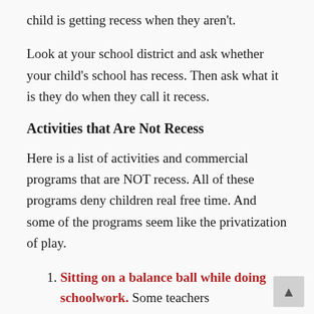child is getting recess when they aren't.
Look at your school district and ask whether your child's school has recess. Then ask what it is they do when they call it recess.
Activities that Are Not Recess
Here is a list of activities and commercial programs that are NOT recess. All of these programs deny children real free time. And some of the programs seem like the privatization of play.
Sitting on a balance ball while doing schoolwork. Some teachers